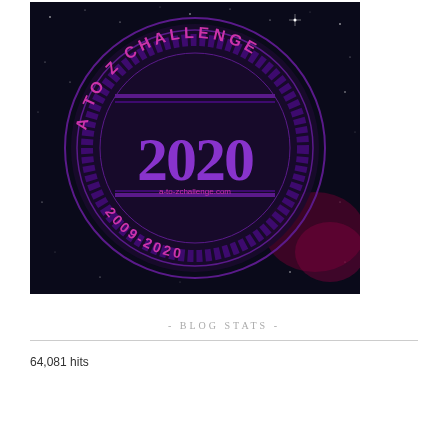[Figure (logo): A To Z Challenge 2020 badge/logo with space background. Dark background with stars, featuring a circular stamp design with purple and magenta text reading 'A TO Z CHALLENGE' around the edge, large '2020' in the center, 'a-to-zchallenge.com' below it, and '2009-2020' at the bottom of the circle.]
- BLOG STATS -
64,081 hits